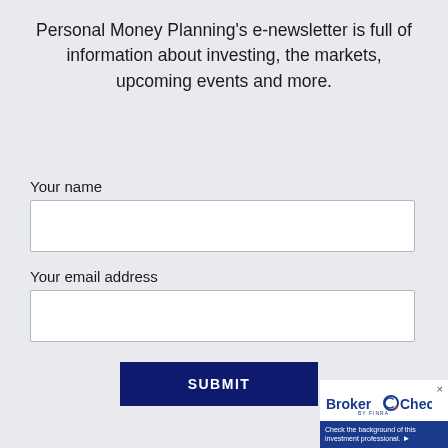Personal Money Planning's e-newsletter is full of information about investing, the markets, upcoming events and more.
Your name
Your email address
SUBMIT
[Figure (screenshot): BrokerCheck by FINRA widget with text 'Check the background of this investment professional.' and a close button (x)]